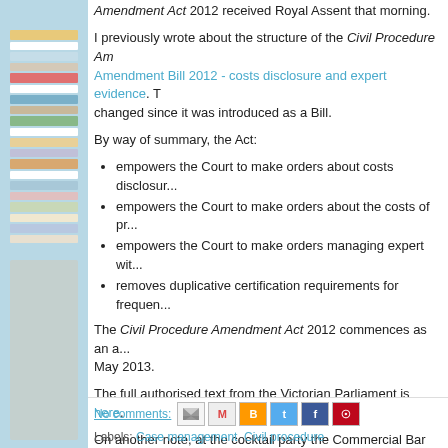[Figure (photo): Stack of books/legal documents along the left side of the page]
Amendment Act 2012 received Royal Assent that morning.
I previously wrote about the structure of the Civil Procedure Amendment Bill 2012 - costs disclosure and expert evidence. T... changed since it was introduced as a Bill.
By way of summary, the Act:
empowers the Court to make orders about costs disclosu...
empowers the Court to make orders about the costs of pr...
empowers the Court to make orders managing expert wit...
removes duplicative certification requirements for frequen...
The Civil Procedure Amendment Act 2012 commences as an a... May 2013.
The full authorised text from the Victorian Parliament is here.
On another note, at the cocktail party the Commercial Bar Asso... website: http://www.commbar.com.au
No comments: | Labels: Case management, Civil procedure